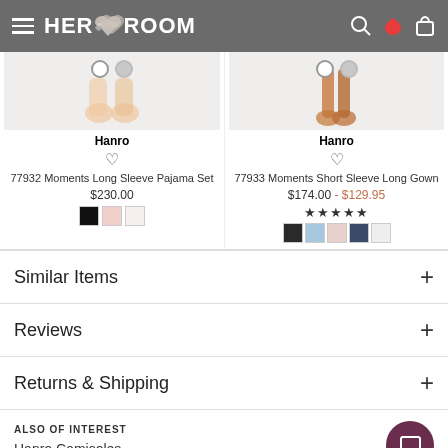HER ROOM
[Figure (screenshot): Product image for Hanro 77932 Moments Long Sleeve Pajama Set showing feet/legs on white background with two color selector circles]
Hanro
77932 Moments Long Sleeve Pajama Set
$230.00
[Figure (screenshot): Product image for Hanro 77933 Moments Short Sleeve Long Gown showing feet/legs on white background with two color selector circles]
Hanro
77933 Moments Short Sleeve Long Gown
$174.00 - $129.95
Similar Items
Reviews
Returns & Shipping
ALSO OF INTEREST
Hanro Camisoles